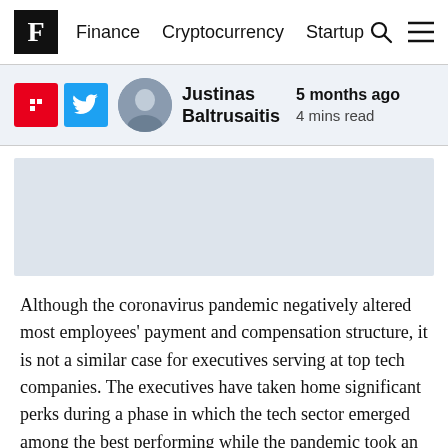F  Finance  Cryptocurrency  Startup
Justinas Baltrusaitis  5 months ago  4 mins read
[Figure (other): Advertisement placeholder rectangle with light blue-grey background]
Although the coronavirus pandemic negatively altered most employees' payment and compensation structure, it is not a similar case for executives serving at top tech companies. The executives have taken home significant perks during a phase in which the tech sector emerged among the best performing while the pandemic took an economic toll on most industries.